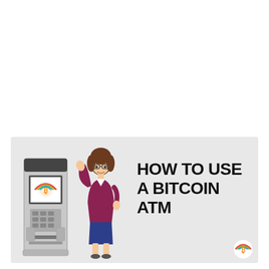[Figure (illustration): Infographic banner on a light gray background showing a Bitcoin ATM machine on the left, a cartoon woman in a purple blazer and blue skirt standing next to it with one hand raised, and bold black text reading 'HOW TO USE A BITCOIN ATM' on the right. A Bitcoin logo appears in the bottom-right corner.]